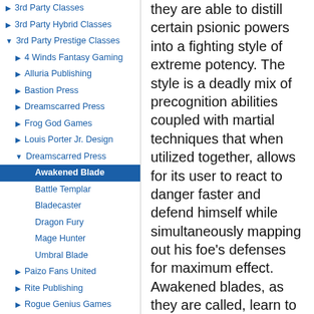3rd Party Classes
3rd Party Hybrid Classes
3rd Party Prestige Classes
4 Winds Fantasy Gaming
Alluria Publishing
Bastion Press
Dreamscarred Press
Frog God Games
Louis Porter Jr. Design
Dreamscarred Press
Awakened Blade
Battle Templar
Bladecaster
Dragon Fury
Mage Hunter
Umbral Blade
Paizo Fans United
Rite Publishing
Rogue Genius Games
Sean K Reynolds Games
Total Party Kill Games
Zombie Sky Press
they are able to distill certain psionic powers into a fighting style of extreme potency. The style is a deadly mix of precognition abilities coupled with martial techniques that when utilized together, allows for its user to react to danger faster and defend himself while simultaneously mapping out his foe's defenses for maximum effect. Awakened blades, as they are called, learn to use their precognitive mastery as both offense and defense in pursuit of greater psionic knowledge and personal glory or power.
Hit Die: d10
Requirements